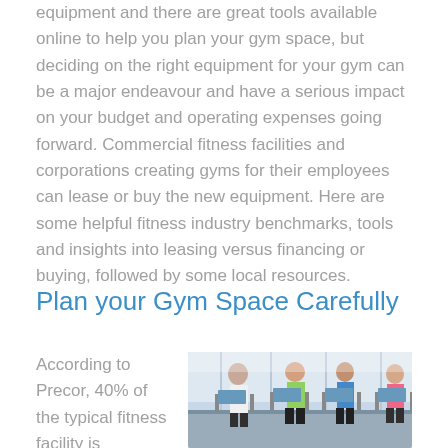equipment and there are great tools available online to help you plan your gym space, but deciding on the right equipment for your gym can be a major endeavour and have a serious impact on your budget and operating expenses going forward. Commercial fitness facilities and corporations creating gyms for their employees can lease or buy the new equipment. Here are some helpful fitness industry benchmarks, tools and insights into leasing versus financing or buying, followed by some local resources.
Plan your Gym Space Carefully
According to Precor, 40% of the typical fitness facility is
[Figure (photo): People exercising on treadmills in a modern gym with large windows, showing multiple gym users in colorful workout attire.]